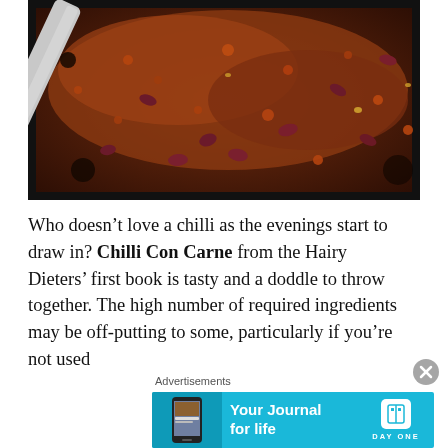[Figure (photo): Close-up photo of chilli con carne cooking in a dark pan, showing minced meat with kidney beans and spices, with a metal spatula/spoon visible on the left side.]
Who doesn't love a chilli as the evenings start to draw in? Chilli Con Carne from the Hairy Dieters' first book is tasty and a doddle to throw together. The high number of required ingredients may be off-putting to some, particularly if you're not used
Advertisements
[Figure (screenshot): Advertisement banner for Day One journal app with cyan/teal background, showing 'Your Journal for life' text and Day One logo.]